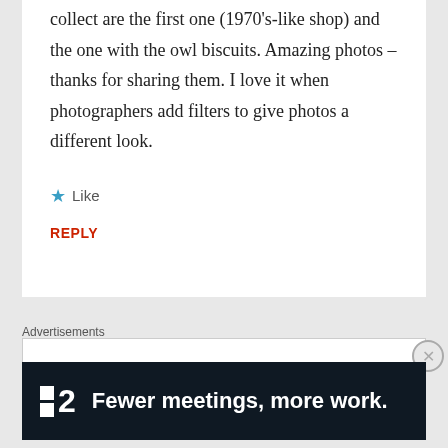collect are the first one (1970's-like shop) and the one with the owl biscuits. Amazing photos – thanks for sharing them. I love it when photographers add filters to give photos a different look.
★ Like
REPLY
Advertisements
[Figure (other): Advertisement banner with dark background showing logo '■2' and text 'Fewer meetings, more work.']